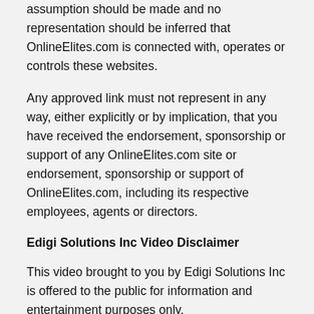assumption should be made and no representation should be inferred that OnlineElites.com is connected with, operates or controls these websites.
Any approved link must not represent in any way, either explicitly or by implication, that you have received the endorsement, sponsorship or support of any OnlineElites.com site or endorsement, sponsorship or support of OnlineElites.com, including its respective employees, agents or directors.
Edigi Solutions Inc Video Disclaimer
This video brought to you by Edigi Solutions Inc is offered to the public for information and entertainment purposes only.